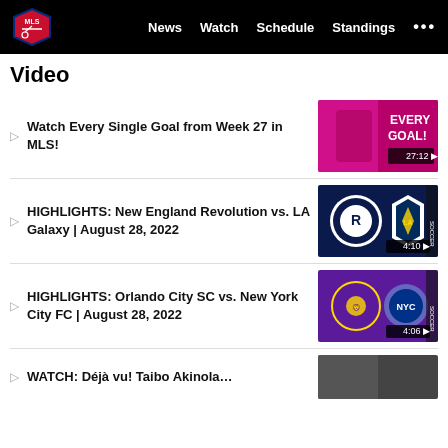MLS | News | Watch | Schedule | Standings | ...
Video
Watch Every Single Goal from Week 27 in MLS!
HIGHLIGHTS: New England Revolution vs. LA Galaxy | August 28, 2022
HIGHLIGHTS: Orlando City SC vs. New York City FC | August 28, 2022
WATCH: Déjà vu! Taibo Akinola...